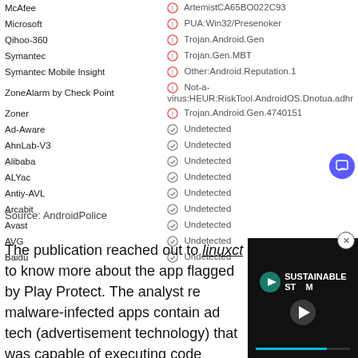| Vendor | Detection |
| --- | --- |
| McAfee | ArtemistCA65BO022C93 |
| Microsoft | PUA:Win32/Presenoker |
| Qihoo-360 | Trojan.Android.Gen |
| Symantec | Trojan.Gen.MBT |
| Symantec Mobile Insight | Other:Android.Reputation.1 |
| ZoneAlarm by Check Point | Not-a-virus:HEUR:RiskTool.AndroidOS.Dnotua.adhr |
| Zoner | Trojan.Android.Gen.4740151 |
| Ad-Aware | Undetected |
| AhnLab-V3 | Undetected |
| Alibaba | Undetected |
| ALYac | Undetected |
| Antiy-AVL | Undetected |
| Arcabit | Undetected |
| Avast | Undetected |
| AVG | Undetected |
| Baidu | Undetected |
Source: AndroidPolice
The publication reached out to linuxct to know more about the app flagged by Play Protect. The analyst re malware-infected apps contain ad tech (advertisement technology) that was capable of executing code dynamically. What this basically means is that the ads
[Figure (screenshot): Sustainable Stream video player overlay with play button and progress bar]